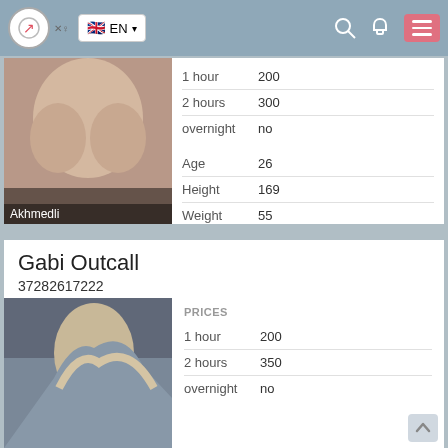EN (language selector navigation bar)
[Figure (photo): Close-up photo of a person from behind, Akhmedli location label]
|  |  |
| --- | --- |
| 1 hour | 200 |
| 2 hours | 300 |
| overnight | no |
| Age | 26 |
| Height | 169 |
| Weight | 55 |
| Breast | 3 |
Gabi Outcall
37282617222
[Figure (photo): Photo of a person with long blonde hair, side profile]
| PRICES |  |
| --- | --- |
| 1 hour | 200 |
| 2 hours | 350 |
| overnight | no |